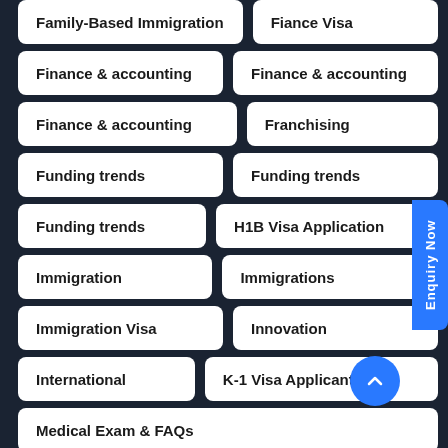Family-Based Immigration
Fiance Visa
Finance & accounting
Finance & accounting
Finance & accounting
Franchising
Funding trends
Funding trends
Funding trends
H1B Visa Application
Immigration
Immigrations
Immigration Visa
Innovation
International
K-1 Visa Applicants
Medical Exam & FAQs
Returning Resident Vi...
Student Vi...